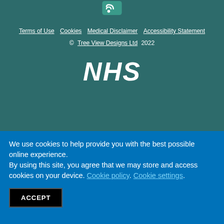[Figure (logo): RSS feed icon — small teal rounded square with white wifi/RSS symbol]
Terms of Use   Cookies   Medical Disclaimer   Accessibility Statement
© Tree View Designs Ltd 2022
[Figure (logo): NHS logo in bold italic white text on teal background]
We use cookies to help provide you with the best possible online experience.
By using this site, you agree that we may store and access cookies on your device. Cookie policy. Cookie settings.
ACCEPT